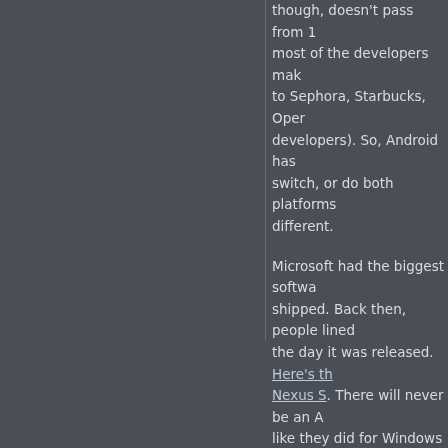though, doesn't pass from 1 most of the developers mak to Sephora, Starbucks, Oper developers). So, Android has switch, or do both platforms different.
Microsoft had the biggest softwa shipped. Back then, people lined the day it was released. Here's th Nexus S. There will never be an A like they did for Windows 95 — o year, for major new products from
Apple today has the biggest mob was never true for the Mac. But t today, has an emotional trust wit
Imagine this. It's June 2011. Stev WWDC keynote address, and ann doesn't even show it, or saw